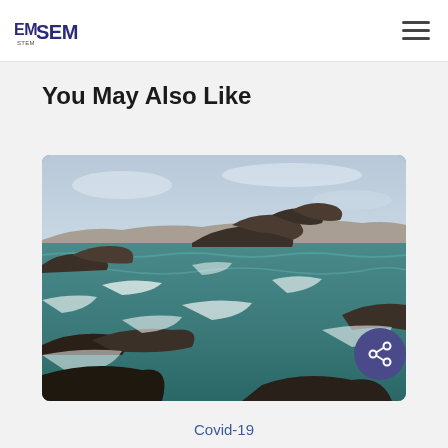EMSEM [logo] [hamburger menu]
You May Also Like
[Figure (photo): Coastal ocean scene with rocky shoreline, crashing waves, and a partly cloudy sky. Turquoise-green water with white surf foam around dark rocks.]
Covid-19